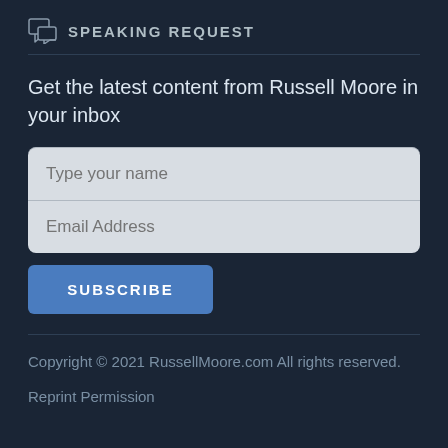SPEAKING REQUEST
Get the latest content from Russell Moore in your inbox
Type your name
Email Address
SUBSCRIBE
Copyright © 2021 RussellMoore.com All rights reserved.
Reprint Permission